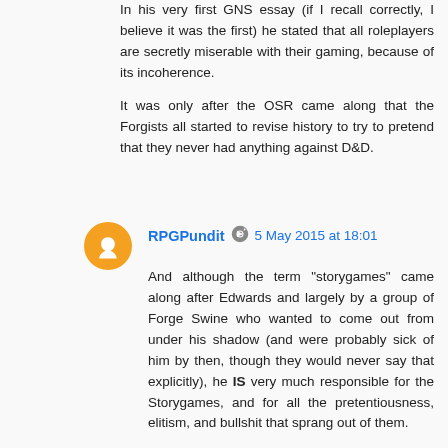In his very first GNS essay (if I recall correctly, I believe it was the first) he stated that all roleplayers are secretly miserable with their gaming, because of its incoherence.
It was only after the OSR came along that the Forgists all started to revise history to try to pretend that they never had anything against D&D.
RPGPundit  5 May 2015 at 18:01
And although the term "storygames" came along after Edwards and largely by a group of Forge Swine who wanted to come out from under his shadow (and were probably sick of him by then, though they would never say that explicitly), he IS very much responsible for the Storygames, and for all the pretentiousness, elitism, and bullshit that sprang out of them.
Name me ONE thing that came out of the